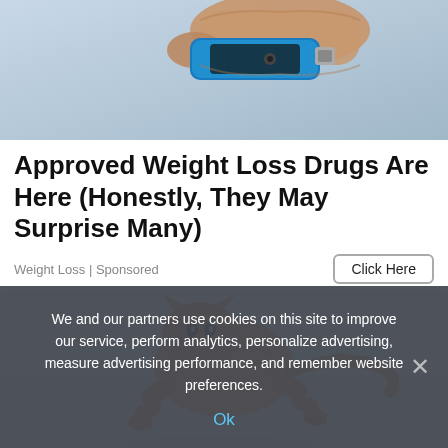[Figure (photo): Close-up photo of a hand holding a small electronic device (appears to be a USB drive or small gadget) with a blue/teal casing against a gray background.]
Approved Weight Loss Drugs Are Here (Honestly, They May Surprise Many)
Weight Loss | Sponsored
[Figure (photo): Photo of an orange/ginger tabby kitten jumping or leaping dynamically against a white/snowy background.]
We and our partners use cookies on this site to improve our service, perform analytics, personalize advertising, measure advertising performance, and remember website preferences.